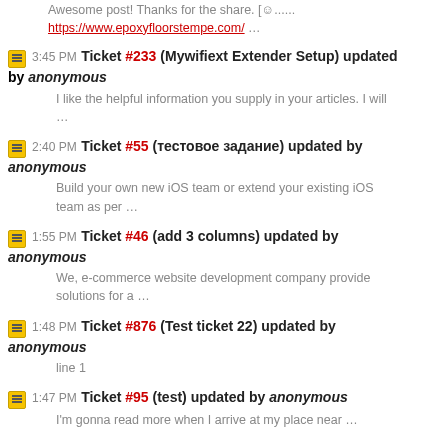Awesome post! Thanks for the share. [☺......
https://www.epoxyfloorstempe.com/ …
3:45 PM Ticket #233 (Mywifiext Extender Setup) updated by anonymous
I like the helpful information you supply in your articles. I will …
2:40 PM Ticket #55 (тестовое задание) updated by anonymous
Build your own new iOS team or extend your existing iOS team as per …
1:55 PM Ticket #46 (add 3 columns) updated by anonymous
We, e-commerce website development company provide solutions for a …
1:48 PM Ticket #876 (Test ticket 22) updated by anonymous
line 1
1:47 PM Ticket #95 (test) updated by anonymous
I'm gonna read more when I arrive at my place near …